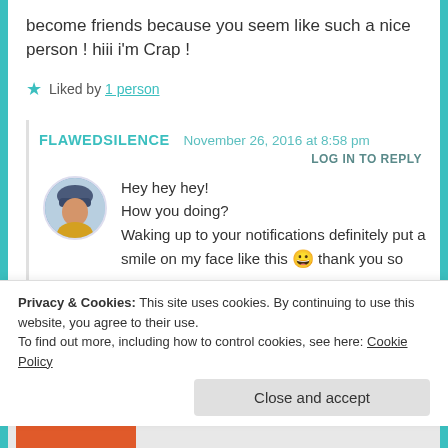become friends because you seem like such a nice person ! hiii i'm Crap !
Liked by 1 person
FLAWEDSILENCE   November 26, 2016 at 8:58 pm
LOG IN TO REPLY
[Figure (photo): Circular avatar photo of a person wearing a blue/dark hat, seen in profile or 3/4 view]
Hey hey hey!
How you doing?
Waking up to your notifications definitely put a smile on my face like this 😀 thank you so much, this means
Privacy & Cookies: This site uses cookies. By continuing to use this website, you agree to their use.
To find out more, including how to control cookies, see here: Cookie Policy
Close and accept